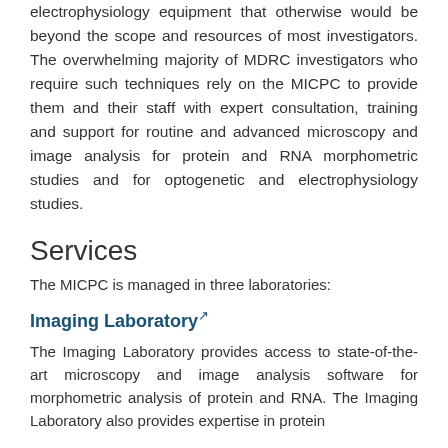electrophysiology equipment that otherwise would be beyond the scope and resources of most investigators. The overwhelming majority of MDRC investigators who require such techniques rely on the MICPC to provide them and their staff with expert consultation, training and support for routine and advanced microscopy and image analysis for protein and RNA morphometric studies and for optogenetic and electrophysiology studies.
Services
The MICPC is managed in three laboratories:
Imaging Laboratory
The Imaging Laboratory provides access to state-of-the-art microscopy and image analysis software for morphometric analysis of protein and RNA. The Imaging Laboratory also provides expertise in protein